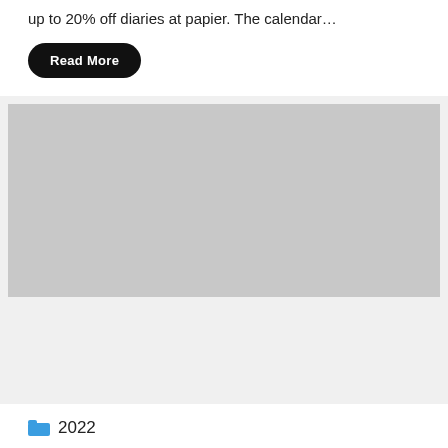up to 20% off diaries at papier. The calendar…
Read More
[Figure (photo): Large gray placeholder image block]
2022